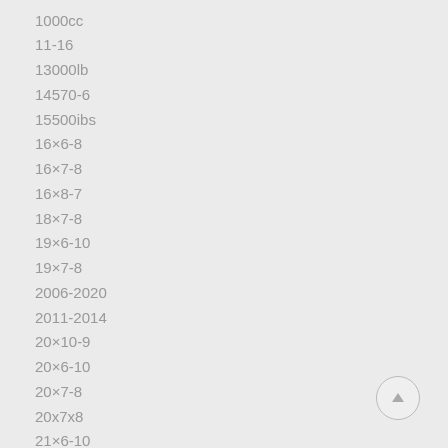1000cc
11-16
13000lb
14570-6
15500ibs
16×6-8
16×7-8
16×8-7
18×7-8
19×6-10
19×7-8
2006-2020
2011-2014
20×10-9
20×6-10
20×7-8
20x7x8
21×6-10
21×7-10
21×7-8
220×10-9